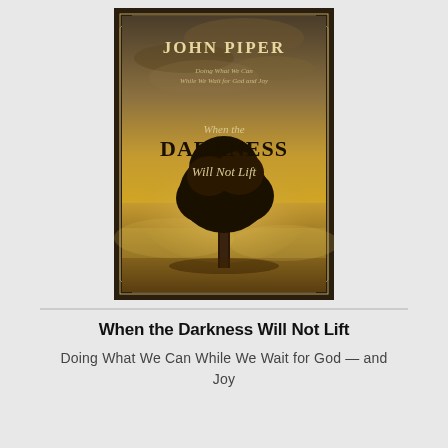[Figure (illustration): Book cover of 'When the Darkness Will Not Lift' by John Piper. Dark brown background with golden misty landscape featuring a lone tree. Text on cover: 'John Piper', 'Doing What We Can While We Wait for God and Joy', 'When the Darkness Will Not Lift']
When the Darkness Will Not Lift
Doing What We Can While We Wait for God — and Joy